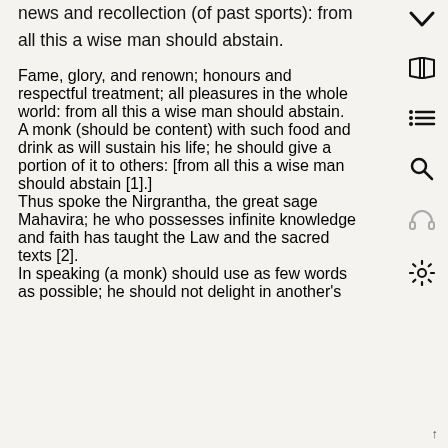news and recollection (of past sports): from all this a wise man should abstain.
Fame, glory, and renown; honours and respectful treatment; all pleasures in the whole world: from all this a wise man should abstain.
A monk (should be content) with such food and drink as will sustain his life; he should give a portion of it to others: [from all this a wise man should abstain [1].
Thus spoke the Nirgrantha, the great sage Mahavira; he who possesses infinite knowledge and faith has taught the Law and the sacred texts [2].
In speaking (a monk) should use as few words as possible; he should not delight in another's